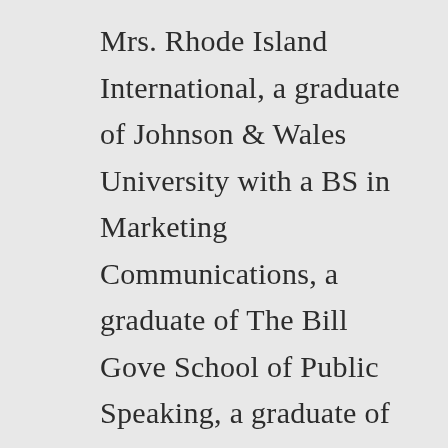Mrs. Rhode Island International, a graduate of Johnson & Wales University with a BS in Marketing Communications, a graduate of The Bill Gove School of Public Speaking, a graduate of Eagle U Leadership University, URI Master Gardener Graduate, URI Tick Smart Community Educator, Rhode Island 4-H Community Volunteer, and Today Show